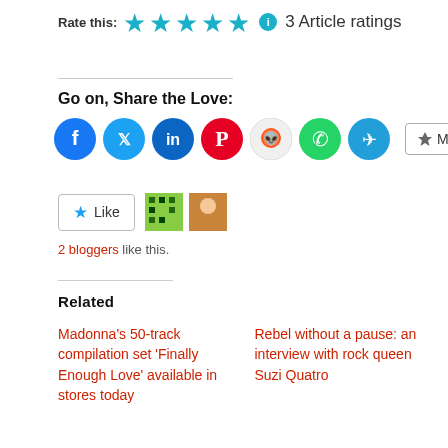Rate this: ★★★★★ ℹ 3 Article ratings
Go on, Share the Love:
[Figure (infographic): Social share buttons: Facebook, Twitter, LinkedIn, Pinterest, Reddit, WhatsApp, Telegram, More]
[Figure (infographic): Like button with 2 blogger avatars]
2 bloggers like this.
Related
Madonna's 50-track compilation set 'Finally Enough Love' available in stores today
Rebel without a pause: an interview with rock queen Suzi Quatro